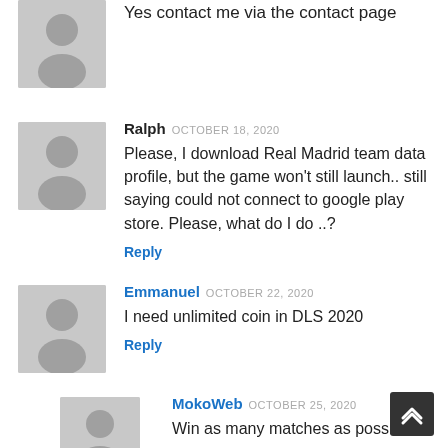Yes contact me via the contact page
[Figure (illustration): Grey placeholder avatar silhouette icon]
Ralph OCTOBER 18, 2020
Please, I download Real Madrid team data profile, but the game won't still launch.. still saying could not connect to google play store. Please, what do I do ..?
Reply
[Figure (illustration): Grey placeholder avatar silhouette icon]
Emmanuel OCTOBER 22, 2020
I need unlimited coin in DLS 2020
Reply
[Figure (illustration): Grey placeholder avatar silhouette icon]
MokoWeb OCTOBER 25, 2020
Win as many matches as possible,